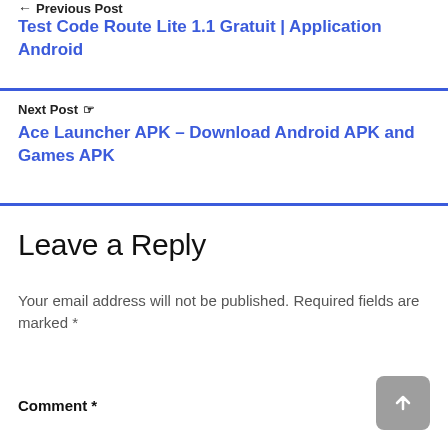← Previous Post
Test Code Route Lite 1.1 Gratuit | Application Android
Next Post ☞
Ace Launcher APK – Download Android APK and Games APK
Leave a Reply
Your email address will not be published. Required fields are marked *
Comment *